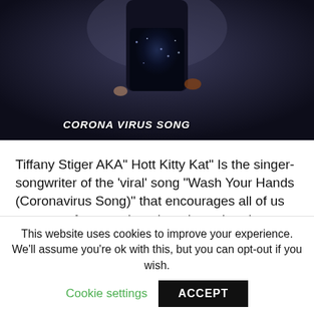[Figure (photo): Photo of Tiffany Stiger (Hott Kitty Kat) in a sequined outfit against a dark background, with the text 'CORONA VIRUS SONG' overlaid in the lower left area of the image.]
Tiffany Stiger AKA" Hott Kitty Kat" Is the singer-songwriter of the 'viral' song "Wash Your Hands (Coronavirus Song)" that encourages all of us to wear a face mask and wash our hands to protect us from getting or giving the COVID-19 Coronavirus. This song has been raising health awareness throughout our community. Teaching the community how to stay safe and boost their immune system throughout the pandemic.
This website uses cookies to improve your experience. We'll assume you're ok with this, but you can opt-out if you wish.